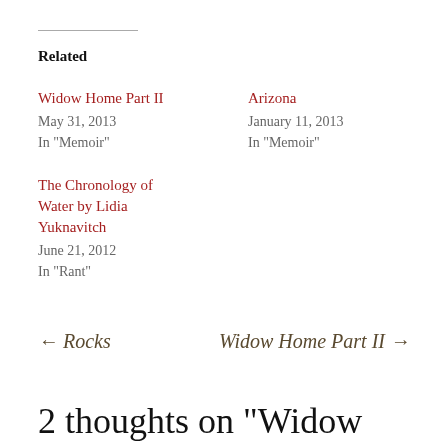Related
Widow Home Part II
May 31, 2013
In "Memoir"
Arizona
January 11, 2013
In "Memoir"
The Chronology of Water by Lidia Yuknavitch
June 21, 2012
In "Rant"
← Rocks
Widow Home Part II →
2 thoughts on “Widow